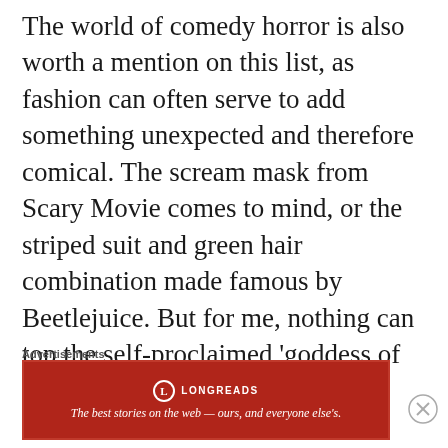The world of comedy horror is also worth a mention on this list, as fashion can often serve to add something unexpected and therefore comical. The scream mask from Scary Movie comes to mind, or the striped suit and green hair combination made famous by Beetlejuice. But for me, nothing can top the self-proclaimed ‘goddess of fashion and telling it like it is’: Chanel Oberlin.

Scream Queens combines goofy jokes, witty punchlines, and slapstick with overt
Advertisements
[Figure (other): Longreads advertisement banner with red background, Longreads logo (white circle with L icon), and tagline: The best stories on the web — ours, and everyone else's.]